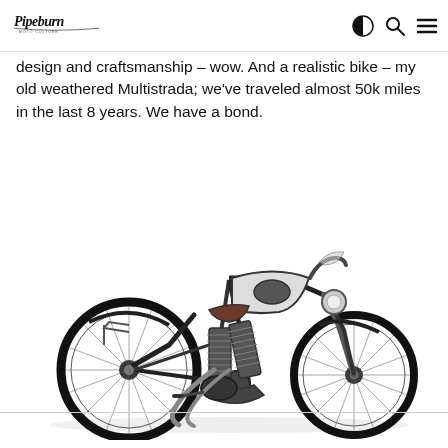Pipeburn
design and craftsmanship – wow. And a realistic bike – my old weathered Multistrada; we've traveled almost 50k miles in the last 8 years. We have a bond.
[Figure (photo): Vintage classic motorcycle, black and silver, with spoke wheels, V-twin engine, brown leather seat, photographed on white background]